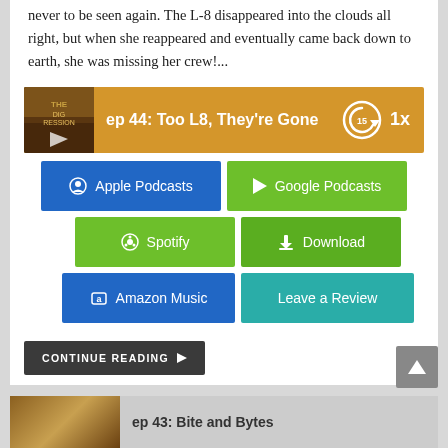never to be seen again. The L-8 disappeared into the clouds all right, but when she reappeared and eventually came back down to earth, she was missing her crew!...
[Figure (screenshot): Podcast player bar with orange background showing episode 'ep 44: Too L8, They're Gone' with play button, replay 15s button, and 1x speed control]
[Figure (infographic): Six podcast platform buttons: Apple Podcasts (blue), Google Podcasts (green), Spotify (green), Download (green), Amazon Music (blue), Leave a Review (teal)]
CONTINUE READING ▶
[Figure (screenshot): Partial next episode card at bottom with thumbnail image and title starting 'ep 43: Bite and Bytes']